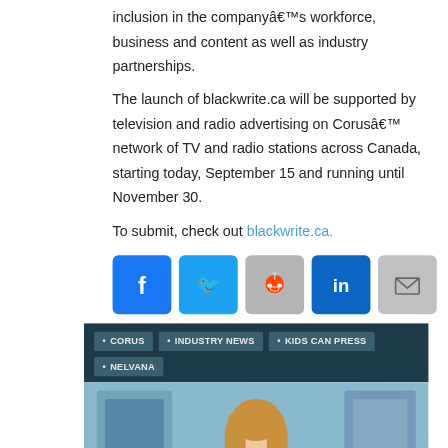inclusion in the companyâ€™s workforce, business and content as well as industry partnerships.
The launch of blackwrite.ca will be supported by television and radio advertising on Corusâ€™ network of TV and radio stations across Canada, starting today, September 15 and running until November 30.
To submit, check out blackwrite.ca.
[Figure (infographic): Social sharing icons row: Facebook (blue), Twitter (blue), Reddit (grey), LinkedIn (blue), Email (grey)]
[Figure (infographic): Dark teal tag bar with tags: CORUS, INDUSTRY NEWS, KIDS CAN PRESS, NELVANA]
[Figure (photo): A woman standing on what appears to be a TV game show set with blue/purple illuminated panels in the background]